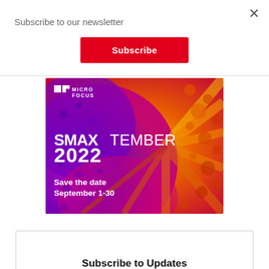Subscribe to our newsletter
Subscribe
[Figure (illustration): Micro Focus SMAXtember 2022 promotional banner with colorful purple, pink, orange background with dots and rays. Text reads: SMAXTEMBER 2022, Save the date, September 1-30, with Micro Focus logo.]
Subscribe to Updates